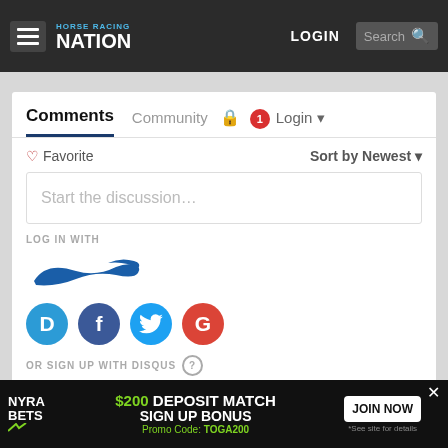[Figure (screenshot): Horse Racing Nation website navigation bar with hamburger menu, logo, LOGIN button, and Search field on dark background]
Comments
Community
Login
Favorite
Sort by Newest
Start the discussion…
LOG IN WITH
[Figure (logo): Disqus logo (stylized horse/swoosh in blue)]
[Figure (logo): Social login icons: Disqus (D), Facebook (F), Twitter bird, Google (G)]
OR SIGN UP WITH DISQUS ?
Name
[Figure (infographic): NYRA Bets advertisement: $200 DEPOSIT MATCH SIGN UP BONUS, Promo Code: TOGA200, JOIN NOW button]